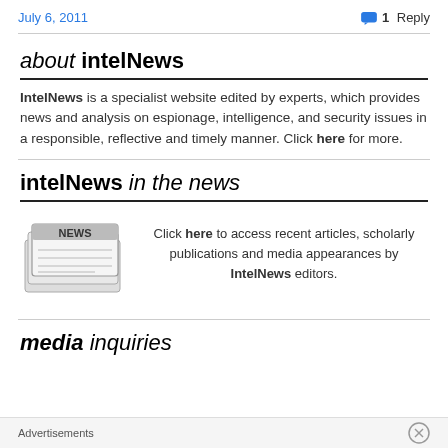July 6, 2011   1 Reply
about intelNews
IntelNews is a specialist website edited by experts, which provides news and analysis on espionage, intelligence, and security issues in a responsible, reflective and timely manner. Click here for more.
intelNews in the news
[Figure (illustration): Newspaper/NEWS icon illustration]
Click here to access recent articles, scholarly publications and media appearances by IntelNews editors.
media inquiries
Advertisements